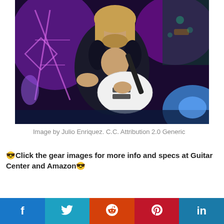[Figure (photo): A musician with long blonde hair and a beard, wearing a dark embroidered jacket, playing a white electric guitar on a stage lit with purple and blue lights.]
Image by Julio Enriquez. C.C. Attribution 2.0 Generic
😎Click the gear images for more info and specs at Guitar Center and Amazon😎
Guitars